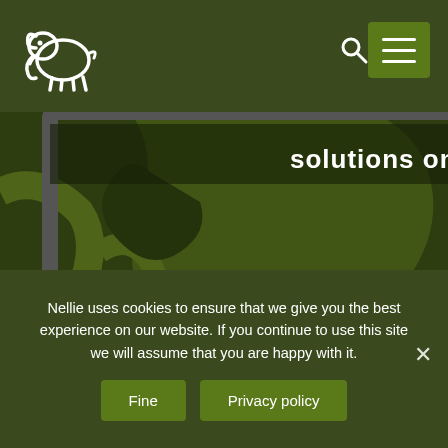[Figure (logo): White elephant outline logo on dark olive/green background]
[Figure (screenshot): Dark olive green background with large muted olive elephant logo outline graphic; partial letter S visible lower left. Text overlay reads 'solutions on the market.']
Nellie uses cookies to ensure that we give you the best experience on our website. If you continue to use this site we will assume that you are happy with it.
Fine
Privacy policy